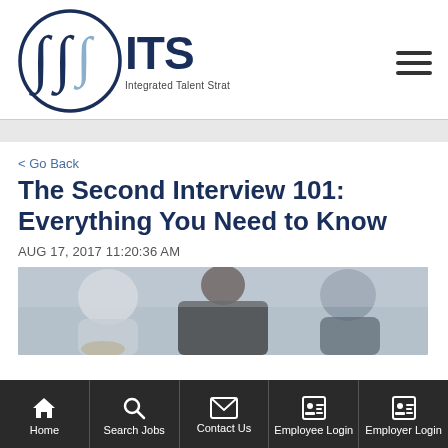ITS Integrated Talent Strategies
< Go Back
The Second Interview 101: Everything You Need to Know
AUG 17, 2017 11:20:36 AM
[Figure (photo): Blurred photo of a person seen from behind sitting across from two interviewers in a professional interview setting]
Home | Search Jobs | Contact Us | Employee Login | Employer Login